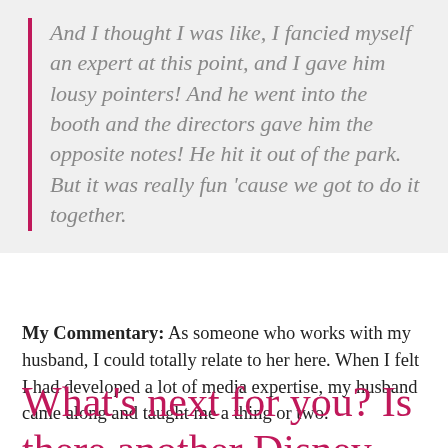And I thought I was like, I fancied myself an expert at this point, and I gave him lousy pointers!  And he went into the booth and the directors gave him the opposite notes! He hit it out of the park. But it was really fun 'cause we got to do it together.
My Commentary: As someone who works with my husband, I could totally relate to her here. When I felt I had developed a lot of media expertise, my husband came along and taught me a thing or two.
What's next for you?  Is there another Disney